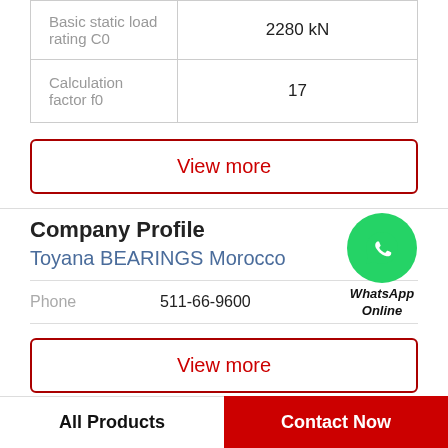|  |  |
| --- | --- |
| Basic static load rating C0 | 2280 kN |
| Calculation factor f0 | 17 |
View more
Company Profile
Toyana BEARINGS Morocco
Phone   511-66-9600
[Figure (logo): WhatsApp green circle icon with phone handset, labeled WhatsApp Online]
View more
All Products
Contact Now